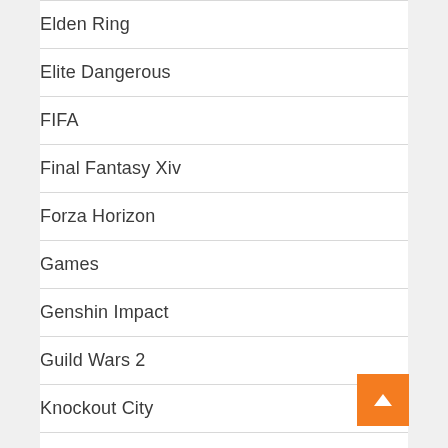Elden Ring
Elite Dangerous
FIFA
Final Fantasy Xiv
Forza Horizon
Games
Genshin Impact
Guild Wars 2
Knockout City
League Of Legends
Lost Ark